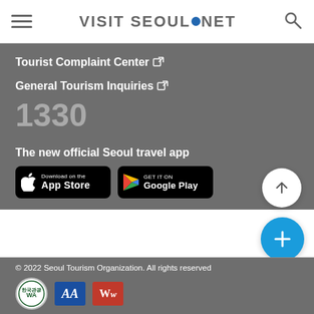VISIT SEOUL.NET
Tourist Complaint Center ↗
General Tourism Inquiries ↗
1330
The new official Seoul travel app
[Figure (screenshot): App Store and Google Play download badges for the Seoul travel app]
© 2022 Seoul Tourism Organization. All rights reserved